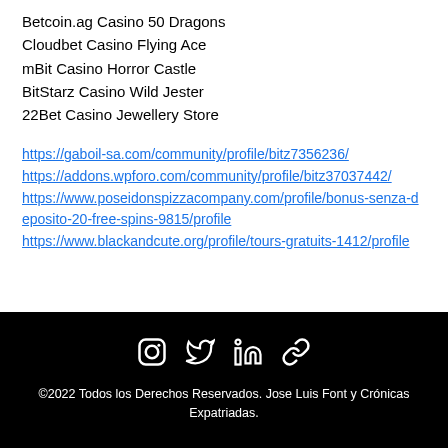Betcoin.ag Casino 50 Dragons
Cloudbet Casino Flying Ace
mBit Casino Horror Castle
BitStarz Casino Wild Jester
22Bet Casino Jewellery Store
https://gaboil-sa.com/community/profile/bitz7356236/ https://addons.wpforo.com/community/profile/bitz37037442/ https://www.poseidonspizzacompany.com/profile/bonus-senza-deposito-20-free-spins-9815/profile https://www.blackandcute.org/profile/tours-gratuits-1412/profile
©2022 Todos los Derechos Reservados. Jose Luis Font y Crónicas Expatriadas.